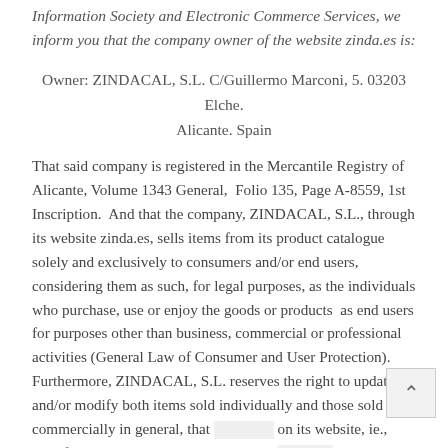Information Society and Electronic Commerce Services, we inform you that the company owner of the website zinda.es is:
Owner: ZINDACAL, S.L. C/Guillermo Marconi, 5. 03203 Elche. Alicante. Spain
That said company is registered in the Mercantile Registry of Alicante, Volume 1343 General, Folio 135, Page A-8559, 1st Inscription. And that the company, ZINDACAL, S.L., through its website zinda.es, sells items from its product catalogue solely and exclusively to consumers and/or end users, considering them as such, for legal purposes, as the individuals who purchase, use or enjoy the goods or products as end users for purposes other than business, commercial or professional activities (General Law of Consumer and User Protection). Furthermore, ZINDACAL, S.L. reserves the right to update and/or modify both items sold individually and those sold commercially in general, that [visible on] its website, ie., modify or update prices, items, special p[romotions], business and service conditions, etc. These modifications will in no [way affect the contracts already concluded at the time they are made]